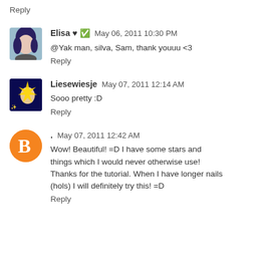Reply
[Figure (photo): Avatar photo of Elisa, a young woman with dark hair]
Elisa ♥ ✅  May 06, 2011 10:30 PM
@Yak man, silva, Sam, thank youuu <3
Reply
[Figure (photo): Avatar image of Liesewiesje, sparkly/magical dark blue background]
Liesewiesje  May 07, 2011 12:14 AM
Sooo pretty :D
Reply
[Figure (logo): Blogger orange circle logo with white B]
.  May 07, 2011 12:42 AM
Wow! Beautiful! =D I have some stars and things which I would never otherwise use! Thanks for the tutorial. When I have longer nails (hols) I will definitely try this! =D
Reply